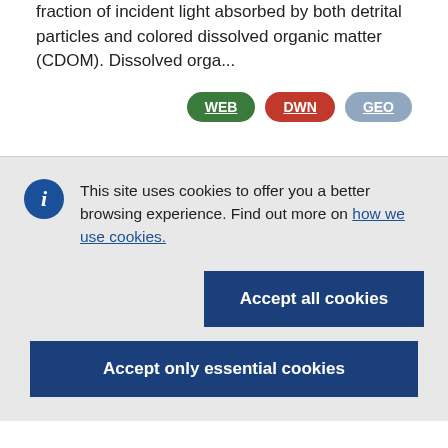fraction of incident light absorbed by both detrital particles and colored dissolved organic matter (CDOM). Dissolved orga...
[Figure (other): Three badge buttons labeled WEB (green), DWN (red), GEO (grey-blue)]
This site uses cookies to offer you a better browsing experience. Find out more on how we use cookies.
Accept all cookies
Accept only essential cookies